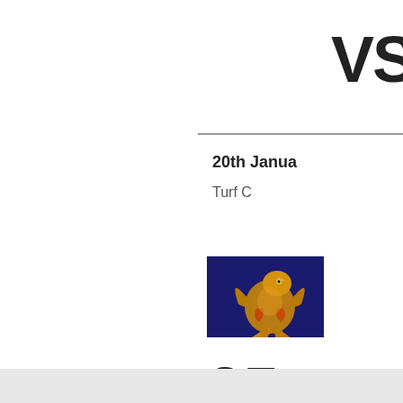VS
20th Janua
Turf C
[Figure (logo): Club badge on dark blue background with golden griffin/lion heraldic emblem]
25